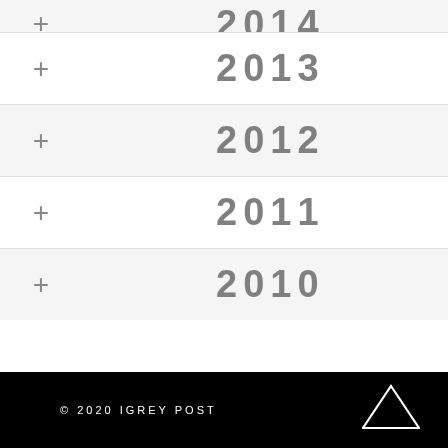2014
2013
2012
2011
2010
© 2020 IGREY POST